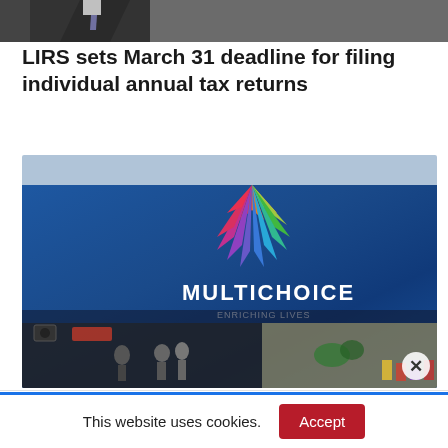[Figure (photo): Partial view of a person in a dark suit at the top of the page]
LIRS sets March 31 deadline for filing individual annual tax returns
[Figure (photo): Multichoice office building exterior with colorful logo and glass facade, people visible in the lobby]
This website uses cookies.
Accept